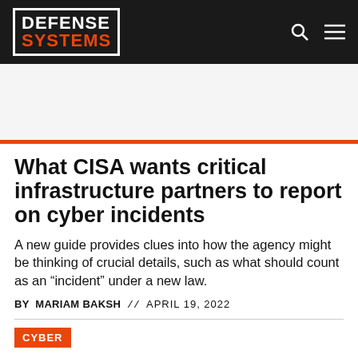DEFENSE SYSTEMS
What CISA wants critical infrastructure partners to report on cyber incidents
A new guide provides clues into how the agency might be thinking of crucial details, such as what should count as an “incident” under a new law.
BY MARIAM BAKSH // APRIL 19, 2022
CYBER